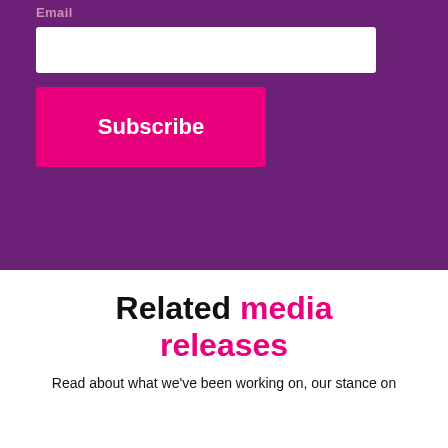Email
[Figure (screenshot): White email input field on purple background]
Subscribe
Related media releases
Read about what we've been working on, our stance on